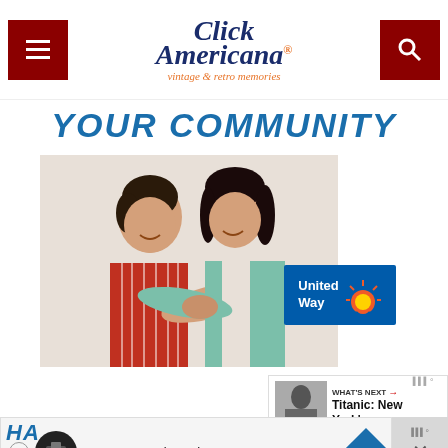Click Americana – vintage & retro memories
YOUR COMMUNITY
[Figure (photo): Two Asian women smiling and holding hands, one wearing a red striped blouse, one wearing a teal cardigan]
[Figure (logo): United Way logo badge]
WHAT'S NEXT → Titanic: New York's...
In-store shopping
HA...